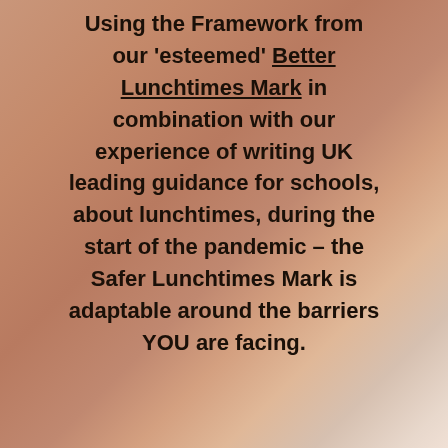[Figure (photo): Close-up photo of a person's face and hand, warm brown skin tones, blurred background used as page background]
Using the Framework from our 'esteemed' Better Lunchtimes Mark in combination with our experience of writing UK leading guidance for schools, about lunchtimes, during the start of the pandemic – the Safer Lunchtimes Mark is adaptable around the barriers YOU are facing.